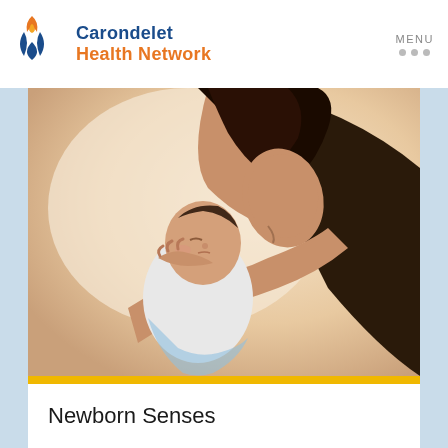Carondelet Health Network
[Figure (photo): A mother holding her newborn baby close, touching noses and smiling, with a warm, soft background.]
Newborn Senses